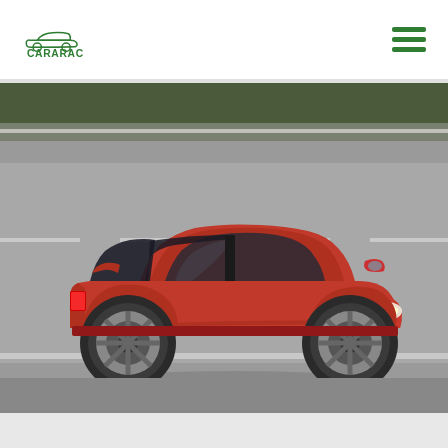CARARAC
[Figure (photo): Red hatchback car (Seat Ibiza or similar) driving on a highway road, photographed from a slightly elevated side angle. The car is bright red with alloy wheels and tinted windows. The road has white lane markings. Background shows a blurred guardrail and greenery.]